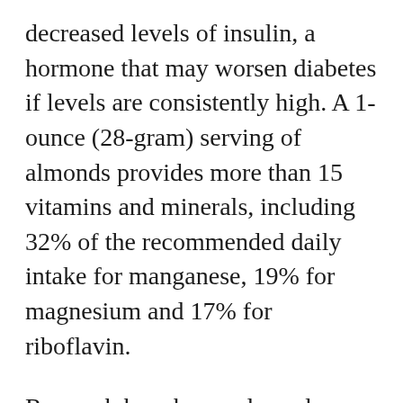decreased levels of insulin, a hormone that may worsen diabetes if levels are consistently high. A 1-ounce (28-gram) serving of almonds provides more than 15 vitamins and minerals, including 32% of the recommended daily intake for manganese, 19% for magnesium and 17% for riboflavin.
Research has shown almonds may help control blood sugar in people with diabetes. In one study, 58 people who included almonds in their diets every day for 24 weeks experienced a 3% decrease in their